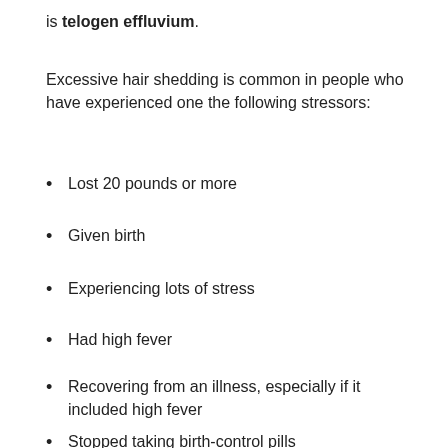is telogen effluvium.
Excessive hair shedding is common in people who have experienced one the following stressors:
Lost 20 pounds or more
Given birth
Experiencing lots of stress
Had high fever
Recovering from an illness, especially if it included high fever
Stopped taking birth-control pills